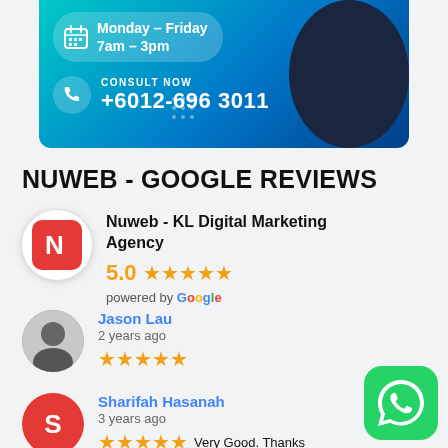[Figure (infographic): Banner with teal-to-blue gradient showing Monday-Friday 7am-3pm schedule, CONSULT NOW +6012-696 3011 phone number, and a person in business attire on the right]
NUWEB - GOOGLE REVIEWS
[Figure (infographic): Nuweb - KL Digital Marketing Agency logo with red N icon, 5.0 star rating, powered by Google]
Nuweb - KL Digital Marketing Agency
5.0 ★★★★★
powered by Google
Jason Lau
2 years ago
★★★★★
Sharifah Hasanah
3 years ago
★★★★★ Very Good. Thanks
[Figure (logo): WhatsApp green icon button]